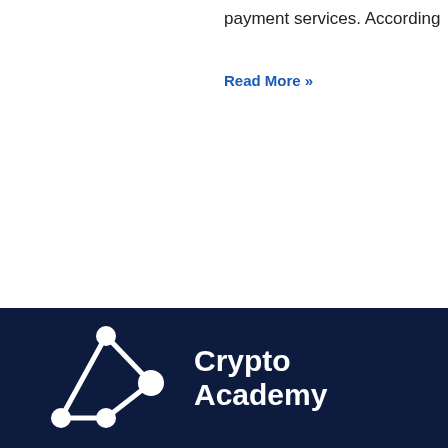payment services. According
Read More »
[Figure (logo): Crypto Academy logo: abstract network/molecule icon in white on dark navy background, with text 'Crypto Academy' in bold white to the right]